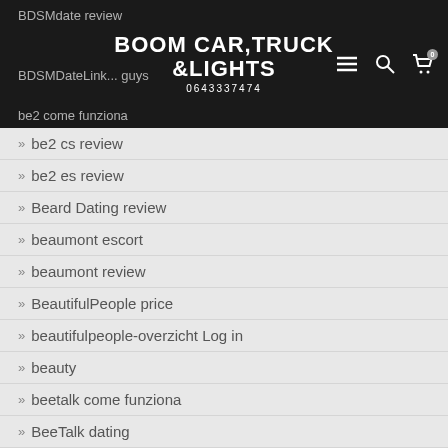BOOM CAR, TRUCK & LIGHTS
0643337474
be2 cs review
be2 es review
Beard Dating review
beaumont escort
beaumont review
BeautifulPeople price
beautifulpeople-overzicht Log in
beauty
beetalk come funziona
BeeTalk dating
beetalk italia